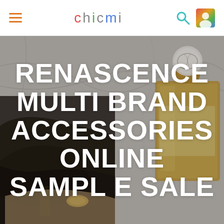CHICMI navigation header with hamburger menu, logo, search and profile icons
[Figure (photo): Hero image showing black leather high-heel shoes and a gold/beige perfume bottle on a marble background, with large white bold text overlay reading: RENASCENCE MULTI BRAND ACCESSORIES ONLINE SAMPLE SALE]
RENASCENCE MULTI BRAND ACCESSORIES ONLINE SAMPLE SALE